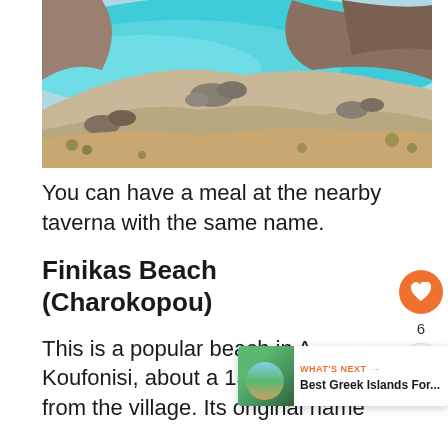[Figure (photo): A rocky beach with turquoise water visible in the background, rocky shore and dry scrubby vegetation in the foreground]
You can have a meal at the nearby taverna with the same name.
Finikas Beach (Charokopou)
This is a popular beach in A... Koufonisi, about a 15-minute walk from the village. Its original name...